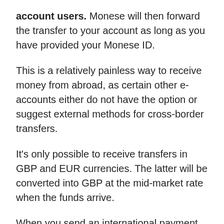account users. Monese will then forward the transfer to your account as long as you have provided your Monese ID.
This is a relatively painless way to receive money from abroad, as certain other e-accounts either do not have the option or suggest external methods for cross-border transfers.
It's only possible to receive transfers in GBP and EUR currencies. The latter will be converted into GBP at the mid-market rate when the funds arrive.
When you send an international payment, the money will be converted at the wholesale exchange rate plus a currency exchange fee shown in the app before submitting the transfer. Currency exchange fees start at 0.5% of the transaction value (the minimum fee is £2).